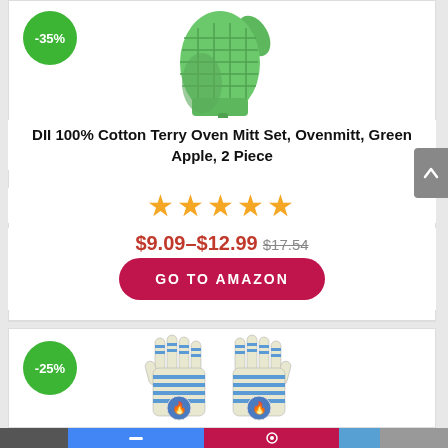[Figure (photo): Green oven mitt product image with -35% discount badge]
DII 100% Cotton Terry Oven Mitt Set, Ovenmitt, Green Apple, 2 Piece
★★★★★
$9.09–$12.99 $17.54
GO TO AMAZON
[Figure (photo): Blue striped heat-resistant gloves product image with -25% discount badge]